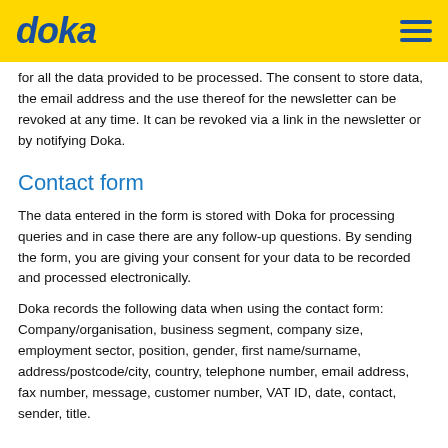doka
for all the data provided to be processed. The consent to store data, the email address and the use thereof for the newsletter can be revoked at any time. It can be revoked via a link in the newsletter or by notifying Doka.
Contact form
The data entered in the form is stored with Doka for processing queries and in case there are any follow-up questions. By sending the form, you are giving your consent for your data to be recorded and processed electronically.
Doka records the following data when using the contact form: Company/organisation, business segment, company size, employment sector, position, gender, first name/surname, address/postcode/city, country, telephone number, email address, fax number, message, customer number, VAT ID, date, contact, sender, title.